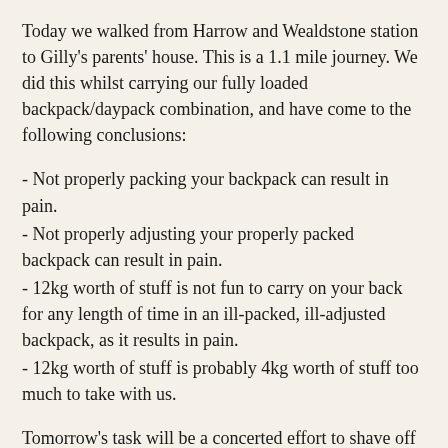Today we walked from Harrow and Wealdstone station to Gilly's parents' house. This is a 1.1 mile journey. We did this whilst carrying our fully loaded backpack/daypack combination, and have come to the following conclusions:
- Not properly packing your backpack can result in pain.
- Not properly adjusting your properly packed backpack can result in pain.
- 12kg worth of stuff is not fun to carry on your back for any length of time in an ill-packed, ill-adjusted backpack, as it results in pain.
- 12kg worth of stuff is probably 4kg worth of stuff too much to take with us.
Tomorrow's task will be a concerted effort to shave off precious weight from an already fairly sparse inventory. I'm now only taking flip-flops and wearing the Keens (sod the trainers...), and I'm going to seriously reduce the amount of over-the-counter medicines I'll be taking. I also need to decide if I have too many clothes. The answer is probably yes. I've got about 6 bottles of sun cream for both of us. Plus a bottle of after-sun. I think that's 5 bottles too much. I may burn more easily than a Tesco Express during a UK